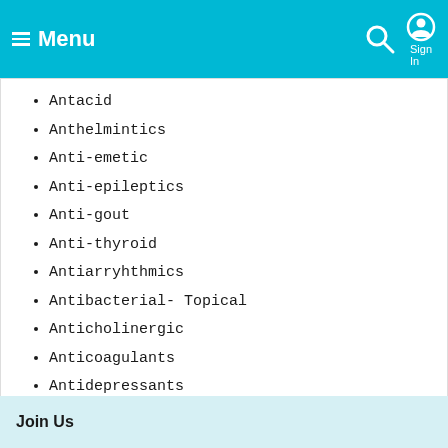Menu
Antacid
Anthelmintics
Anti-emetic
Anti-epileptics
Anti-gout
Anti-thyroid
Antiarryhthmics
Antibacterial- Topical
Anticholinergic
Anticoagulants
Antidepressants
Join Us